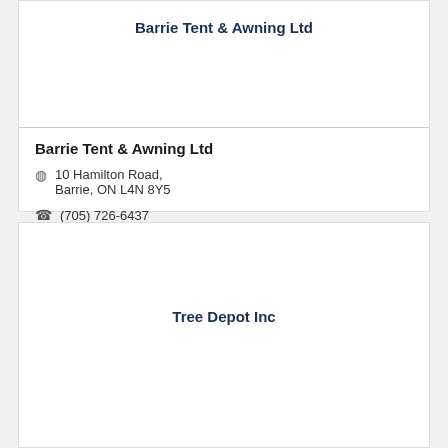Barrie Tent & Awning Ltd
Barrie Tent & Awning Ltd
10 Hamilton Road, Barrie, ON L4N 8Y5
(705) 726-6437
Tree Depot Inc